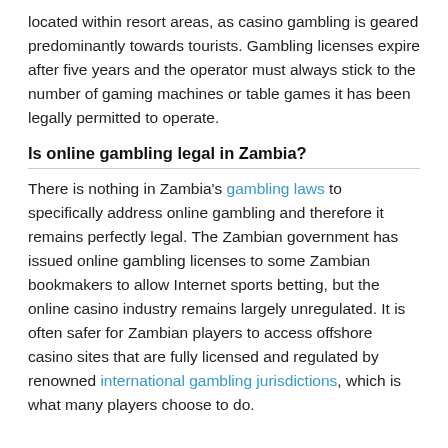located within resort areas, as casino gambling is geared predominantly towards tourists. Gambling licenses expire after five years and the operator must always stick to the number of gaming machines or table games it has been legally permitted to operate.
Is online gambling legal in Zambia?
There is nothing in Zambia's gambling laws to specifically address online gambling and therefore it remains perfectly legal. The Zambian government has issued online gambling licenses to some Zambian bookmakers to allow Internet sports betting, but the online casino industry remains largely unregulated. It is often safer for Zambian players to access offshore casino sites that are fully licensed and regulated by renowned international gambling jurisdictions, which is what many players choose to do.